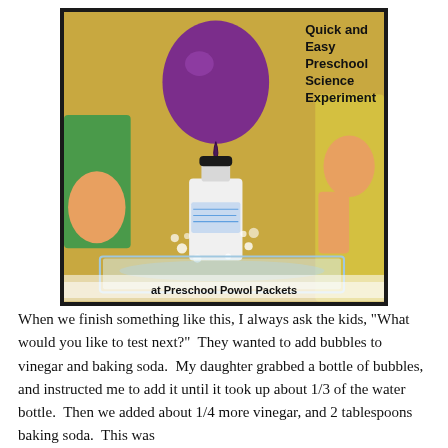[Figure (photo): A purple balloon inflated on top of a white plastic bottle, sitting in a clear plastic tray. Two children are partially visible on either side. Text overlay reads 'Quick and Easy Preschool Science Experiment' at top right and 'at Preschool Powol Packets' at the bottom. Black border around the photo.]
When we finish something like this, I always ask the kids, "What would you like to test next?"  They wanted to add bubbles to vinegar and baking soda.  My daughter grabbed a bottle of bubbles, and instructed me to add it until it took up about 1/3 of the water bottle.  Then we added about 1/4 more vinegar, and 2 tablespoons baking soda.  This was